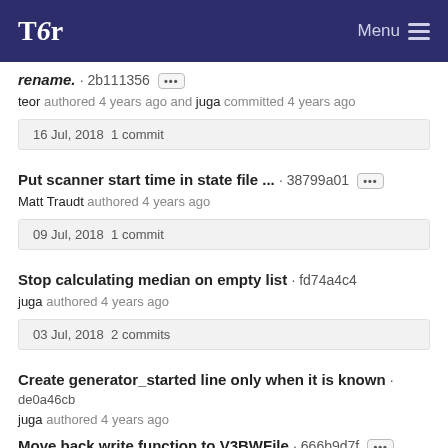Tor  Menu
rename. · 2b111356 [···]
teor authored 4 years ago and juga committed 4 years ago
16 Jul, 2018  1 commit
Put scanner start time in state file ... · 38799a01 [···]
Matt Traudt authored 4 years ago
09 Jul, 2018  1 commit
Stop calculating median on empty list · fd74a4c4
juga authored 4 years ago
03 Jul, 2018  2 commits
Create generator_started line only when it is known · de0a46cb
juga authored 4 years ago
Move back write function to V3BWFile · 666b9d7f [···]
juga authored 4 years ago